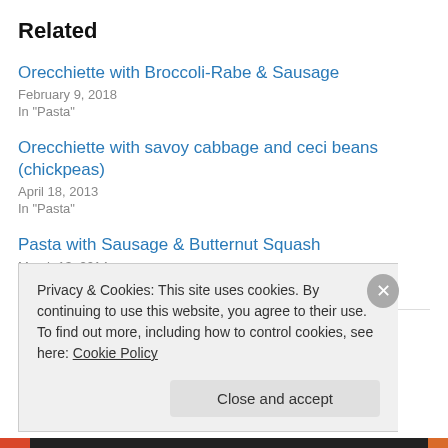Related
Orecchiette with Broccoli-Rabe & Sausage
February 9, 2018
In "Pasta"
Orecchiette with savoy cabbage and ceci beans (chickpeas)
April 18, 2013
In "Pasta"
Pasta with Sausage & Butternut Squash
March 13, 2014
In "Pasta"
Privacy & Cookies: This site uses cookies. By continuing to use this website, you agree to their use.
To find out more, including how to control cookies, see here: Cookie Policy
Close and accept